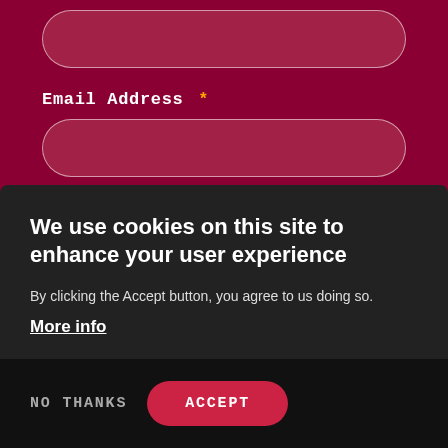Email Address *
State/Territory *
We use cookies on this site to enhance your user experience
By clicking the Accept button, you agree to us doing so.
More info
NO THANKS
ACCEPT